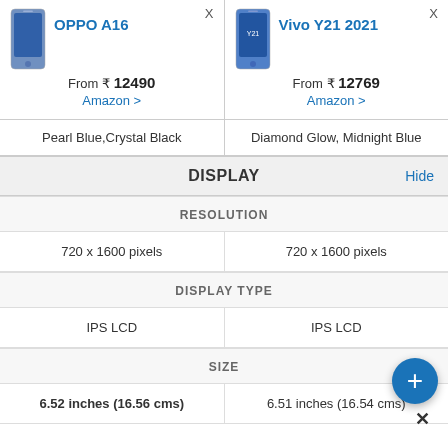| OPPO A16 | Vivo Y21 2021 |
| --- | --- |
| From ₹ 12490
Amazon > | From ₹ 12769
Amazon > |
| Pearl Blue, Crystal Black | Diamond Glow, Midnight Blue |
| DISPLAY | Hide |
| RESOLUTION | RESOLUTION |
| 720 x 1600 pixels | 720 x 1600 pixels |
| DISPLAY TYPE | DISPLAY TYPE |
| IPS LCD | IPS LCD |
| SIZE | SIZE |
| 6.52 inches (16.56 cms) | 6.51 inches (16.54 cms) |